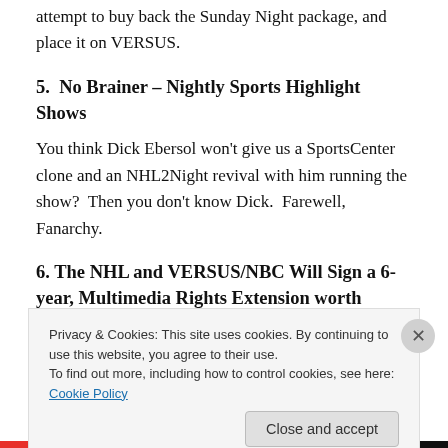attempt to buy back the Sunday Night package, and place it on VERSUS.
5.  No Brainer – Nightly Sports Highlight Shows
You think Dick Ebersol won't give us a SportsCenter clone and an NHL2Night revival with him running the show?  Then you don't know Dick.  Farewell, Fanarchy.
6. The NHL and VERSUS/NBC Will Sign a 6-year, Multimedia Rights Extension worth About $500 Million total.
Privacy & Cookies: This site uses cookies. By continuing to use this website, you agree to their use.
To find out more, including how to control cookies, see here: Cookie Policy